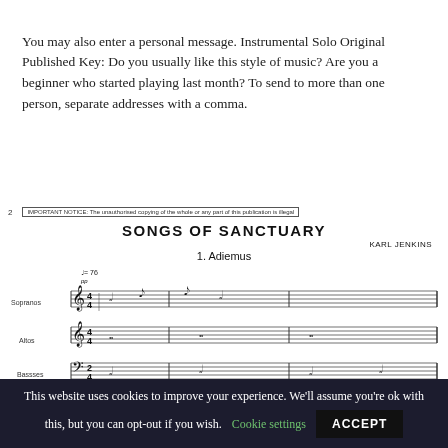You may also enter a personal message. Instrumental Solo Original Published Key: Do you usually like this style of music? Are you a beginner who started playing last month? To send to more than one person, separate addresses with a comma.
[Figure (illustration): Sheet music excerpt showing the beginning of 'Songs of Sanctuary' by Karl Jenkins, movement 1 'Adiemus', with staves for Sopranos, Altos, and Basses. Page number 2 and copyright notice at top.]
This website uses cookies to improve your experience. We'll assume you're ok with this, but you can opt-out if you wish. Cookie settings ACCEPT